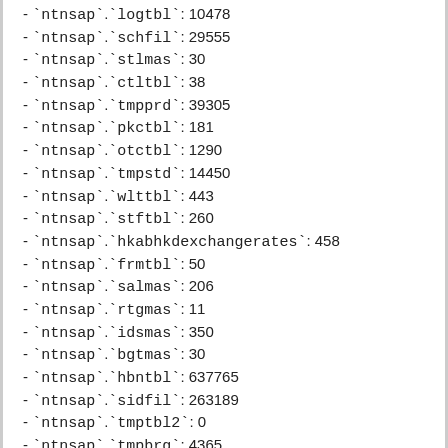- `ntnsap`.`logtbl`: 10478
- `ntnsap`.`schfil`: 29555
- `ntnsap`.`stlmas`: 30
- `ntnsap`.`ctltbl`: 38
- `ntnsap`.`tmpprd`: 39305
- `ntnsap`.`pkctbl`: 181
- `ntnsap`.`otctbl`: 1290
- `ntnsap`.`tmpstd`: 14450
- `ntnsap`.`wlttbl`: 443
- `ntnsap`.`stftbl`: 260
- `ntnsap`.`hkabhkdexchangerates`: 458
- `ntnsap`.`frmtbl`: 50
- `ntnsap`.`salmas`: 206
- `ntnsap`.`rtgmas`: 11
- `ntnsap`.`idsmas`: 350
- `ntnsap`.`bgtmas`: 30
- `ntnsap`.`hbntbl`: 637765
- `ntnsap`.`sidfil`: 263189
- `ntnsap`.`tmptbl2`: 0
- `ntnsap`.`tmpbrg`: 4365
- `ntnsap`.`vbpa`: 14449
- `ntnsap`.`fsdfil`: 3304